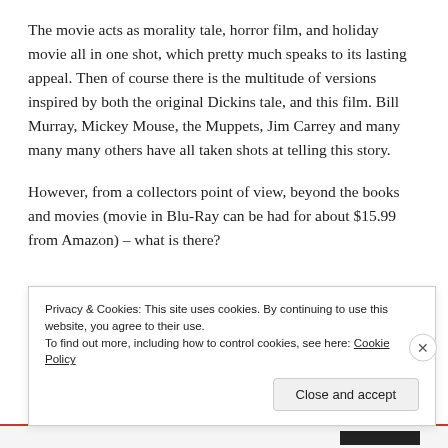The movie acts as morality tale, horror film, and holiday movie all in one shot, which pretty much speaks to its lasting appeal. Then of course there is the multitude of versions inspired by both the original Dickins tale, and this film. Bill Murray, Mickey Mouse, the Muppets, Jim Carrey and many many many others have all taken shots at telling this story.
However, from a collectors point of view, beyond the books and movies (movie in Blu-Ray can be had for about $15.99 from Amazon) – what is there?
Privacy & Cookies: This site uses cookies. By continuing to use this website, you agree to their use.
To find out more, including how to control cookies, see here: Cookie Policy